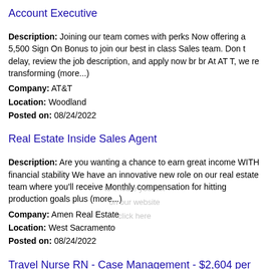Account Executive
Description: Joining our team comes with perks Now offering a 5,500 Sign On Bonus to join our best in class Sales team. Don t delay, review the job description, and apply now br br At AT T, we re transforming (more...)
Company: AT&T
Location: Woodland
Posted on: 08/24/2022
Real Estate Inside Sales Agent
Description: Are you wanting a chance to earn great income WITH financial stability We have an innovative new role on our real estate team where you'll receive Monthly compensation for hitting production goals plus (more...)
Company: Amen Real Estate
Location: West Sacramento
Posted on: 08/24/2022
Travel Nurse RN - Case Management - $2,604 per week
Description: Aureus Medical Group - Nursing is seeking a travel nurse RN Case Management for a travel nursing job in Woodland, California.Job Description Requirements ul li Specialty: Case Management li Discipline: (more...)